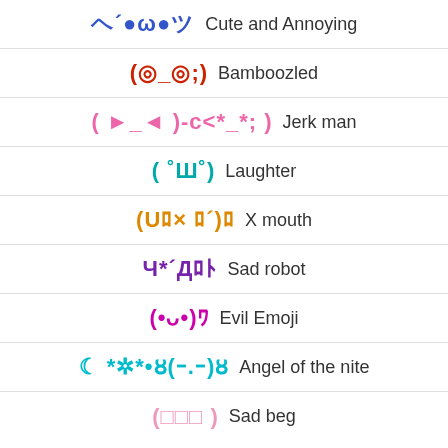ヘ´●ω●ツ  Cute and Annoying
(◎_◎;)  Bamboozled
( ►_◄ )-c<*_*; )  Jerk man
( ˚Ш˚)  Laughter
(Uﾛ× ﾛ´)ﾛ  X mouth
Ч*´Дﾛﾄ  Sad robot
(•ᴗ•)ﾜ  Evil Emoji
☾ *✲*•ȣ(ｰ.ｰ)ȣ  Angel of the nite
(□□□ )  Sad beg